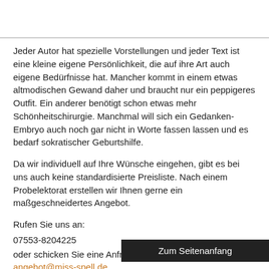Jeder Autor hat spezielle Vorstellungen und jeder Text ist eine kleine eigene Persönlichkeit, die auf ihre Art auch eigene Bedürfnisse hat. Mancher kommt in einem etwas altmodischen Gewand daher und braucht nur ein peppigeres Outfit. Ein anderer benötigt schon etwas mehr Schönheitschirurgie. Manchmal will sich ein Gedanken-Embryo auch noch gar nicht in Worte fassen lassen und es bedarf sokratischer Geburtshilfe.
Da wir individuell auf Ihre Wünsche eingehen, gibt es bei uns auch keine standardisierte Preisliste. Nach einem Probelektorat erstellen wir Ihnen gerne ein maßgeschneidertes Angebot.
Rufen Sie uns an:
07553-8204225
oder schicken Sie eine Anfrage mit Probetext an: angebot@miss-spell.de